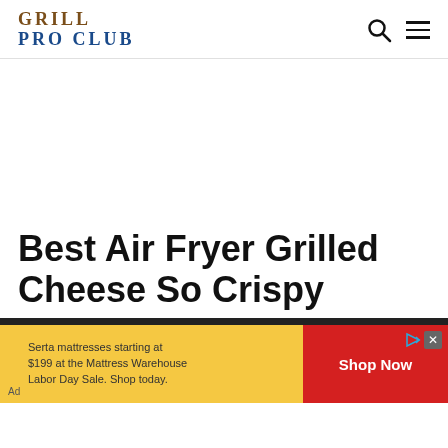GRILL PRO CLUB
Best Air Fryer Grilled Cheese So Crispy
[Figure (other): Advertisement banner: Serta mattresses starting at $199 at the Mattress Warehouse Labor Day Sale. Shop today. With Shop Now button in red.]